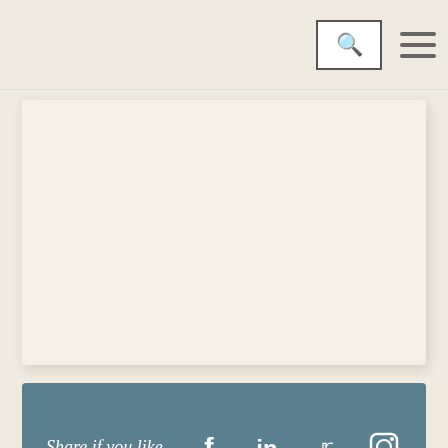[Figure (screenshot): Website navigation bar with search icon in a bordered box and hamburger menu icon on the right]
[Figure (screenshot): Beige/cream content card area with shadow]
[Figure (screenshot): Share bar with text 'Share if you like' and social media icons for Facebook, LinkedIn, Twitter, and Instagram]
0 Comments
[Figure (screenshot): Advertisement banner for Chewy.com: 'Pet Food, Products, Supplies at Low Prices - Pay the lowest prices on pet supplies at Chewy.com' with a blue arrow button and close button]